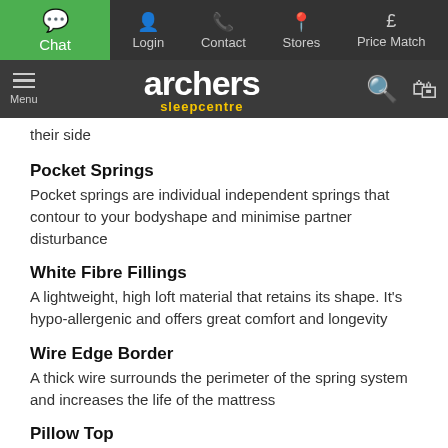Chat | Login | Contact | Stores | Price Match
[Figure (logo): Archers Sleepcentre logo with navigation menu, search, and basket icons]
their side
Pocket Springs
Pocket springs are individual independent springs that contour to your bodyshape and minimise partner disturbance
White Fibre Fillings
A lightweight, high loft material that retains its shape. It's hypo-allergenic and offers great comfort and longevity
Wire Edge Border
A thick wire surrounds the perimeter of the spring system and increases the life of the mattress
Pillow Top